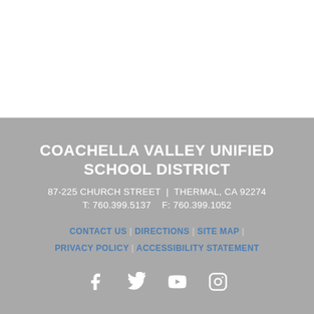COACHELLA VALLEY UNIFIED SCHOOL DISTRICT
87-225 CHURCH STREET  |  THERMAL, CA 92274
T: 760.399.5137    F: 760.399.1052
CONTACT US | DIRECTIONS | SITE MAP | PRIVACY POLICY | ACCESSIBILITY STATEMENT
[Figure (illustration): Social media icons: Facebook, Twitter, YouTube, Instagram]